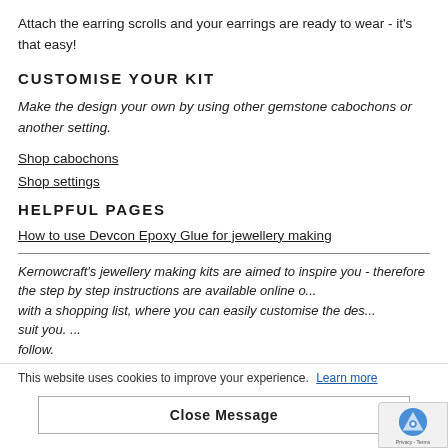Attach the earring scrolls and your earrings are ready to wear - it's that easy!
CUSTOMISE YOUR KIT
Make the design your own by using other gemstone cabochons or another setting.
Shop cabochons
Shop settings
HELPFUL PAGES
How to use Devcon Epoxy Glue for jewellery making
Kernowcraft's jewellery making kits are aimed to inspire you - therefore the step by step instructions are available online c... with a shopping list, where you can easily customise the des... suit you. ... follow.